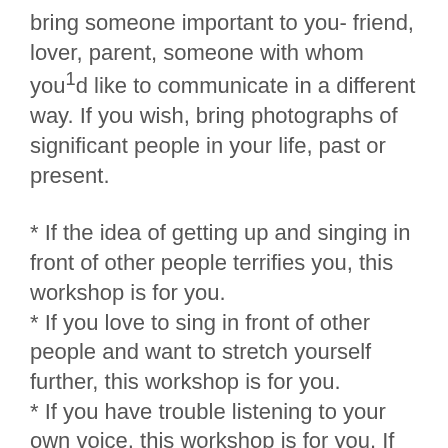bring someone important to you- friend, lover, parent, someone with whom you¹d like to communicate in a different way. If you wish, bring photographs of significant people in your life, past or present.
* If the idea of getting up and singing in front of other people terrifies you, this workshop is for you.
* If you love to sing in front of other people and want to stretch yourself further, this workshop is for you.
* If you have trouble listening to your own voice, this workshop is for you. If you've been too shy to try, this is your chance.
#blog